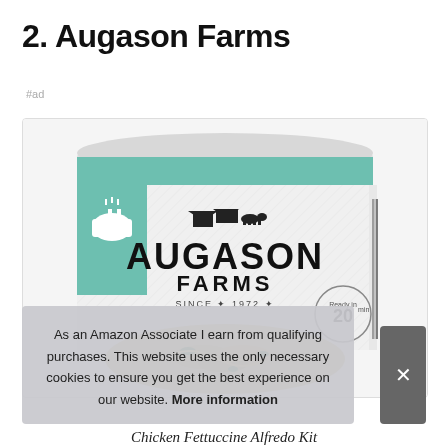2. Augason Farms
#ad
[Figure (photo): Augason Farms large can product — white and teal colored tin with Augason Farms brand logo (house, barn, cow), pot icon, and 'Ready in 20 min' badge. Bottom shows food contents (pasta dish).]
As an Amazon Associate I earn from qualifying purchases. This website uses the only necessary cookies to ensure you get the best experience on our website. More information
Chicken Fettuccine Alfredo Kit